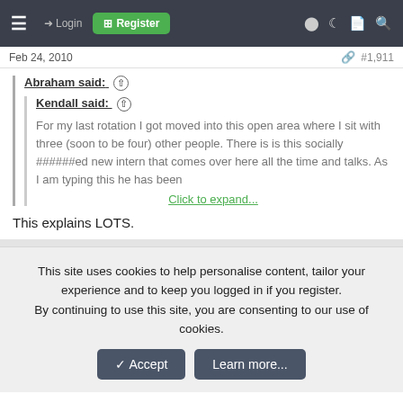Login | Register
Feb 24, 2010  #1,911
Abraham said: ↑
Kendall said: ↑
For my last rotation I got moved into this open area where I sit with three (soon to be four) other people. There is is this socially ######ed new intern that comes over here all the time and talks. As I am typing this he has been
Click to expand...
This explains LOTS.
This site uses cookies to help personalise content, tailor your experience and to keep you logged in if you register.
By continuing to use this site, you are consenting to our use of cookies.